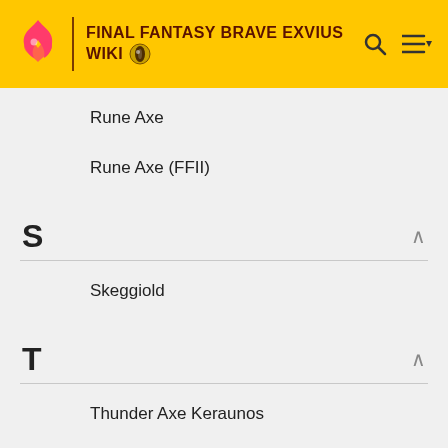FINAL FANTASY BRAVE EXVIUS WIKI
Rune Axe
Rune Axe (FFII)
S
Skeggiold
T
Thunder Axe Keraunos